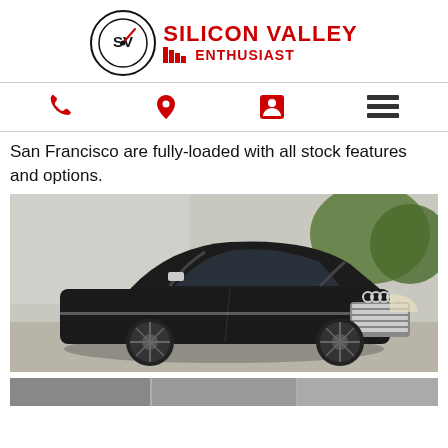[Figure (logo): Silicon Valley Enthusiast logo with circular SV emblem and red text]
[Figure (infographic): Navigation icon bar with phone, location pin, person, and hamburger menu icons in red]
San Francisco are fully-loaded with all stock features and options.
[Figure (photo): Dark black Audi S3 sedan parked outdoors, front three-quarter view, large alloy wheels, Audi chrome grille]
[Figure (photo): Partial view of another vehicle, bottom of page]